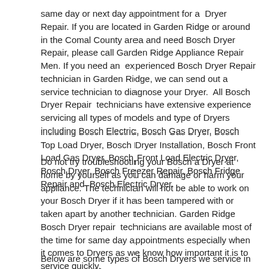same day or next day appointment for a Dryer Repair. If you are located in Garden Ridge or around in the Comal County area and need Bosch Dryer Repair, please call Garden Ridge Appliance Repair Men. If you need an experienced Bosch Dryer Repair technician in Garden Ridge, we can send out a service technician to diagnose your Dryer. All Bosch Dryer Repair technicians have extensive experience servicing all types of models and type of Dryers including Bosch Electric, Bosch Gas Dryer, Bosch Top Load Dryer, Bosch Dryer Installation, Bosch Front Load Gas Dryer, Bosch Front Load Electric Dryer, Bosch Dryer, Bosch Freezer Repair, Bosch Fridge Repair and Bosch Electric Dryer.
Do not try troubleshooting your Bosch a Dryer at home by yourself as you can damage or harm your appliance. The technician will not be able to work on your Bosch Dryer if it has been tampered with or taken apart by another technician. Garden Ridge Bosch Dryer repair technicians are available most of the time for same day appointments especially when it comes to Dryers as we know how important it is to service quickly.
Below are some types of Bosch Dryers we service in the Garden Ridge